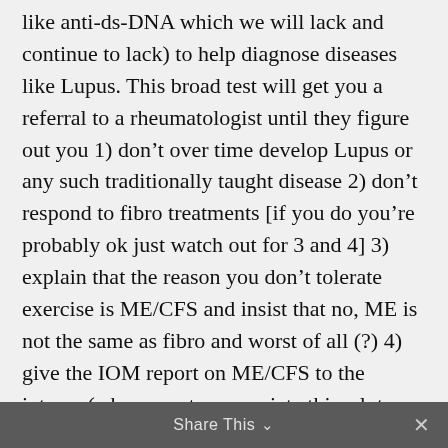like anti-ds-DNA which we will lack and continue to lack) to help diagnose diseases like Lupus. This broad test will get you a referral to a rheumatologist until they figure out you 1) don't over time develop Lupus or any such traditionally taught disease 2) don't respond to fibro treatments [if you do you're probably ok just watch out for 3 and 4] 3) explain that the reason you don't tolerate exercise is ME/CFS and insist that no, ME is not the same as fibro and worst of all (?) 4) give the IOM report on ME/CFS to the interns (who seem to appreciate this a lot, btw). Then you're fired and don't have a rheumatologist any more, +ANA or no, even though all your other practitioners (PCP, eye doc, etc.) want you to have a rheumatologist
Share This